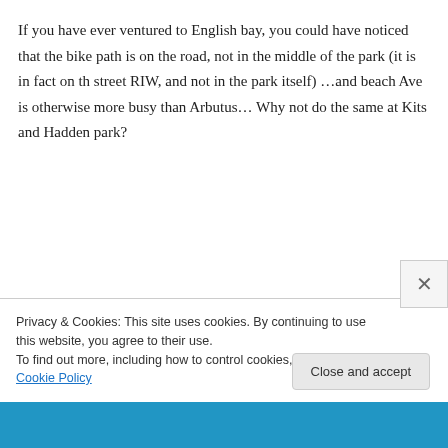If you have ever ventured to English bay, you could have noticed that the bike path is on the road, not in the middle of the park (it is in fact on th street RIW, and not in the park itself) …and beach Ave is otherwise more busy than Arbutus… Why not do the same at Kits and Hadden park?
I am sure you know such solution could have been on the table. Alas, you prefer misrepresent the facts, rather than to try to take a constructive
Privacy & Cookies: This site uses cookies. By continuing to use this website, you agree to their use.
To find out more, including how to control cookies, see here: Cookie Policy
Close and accept